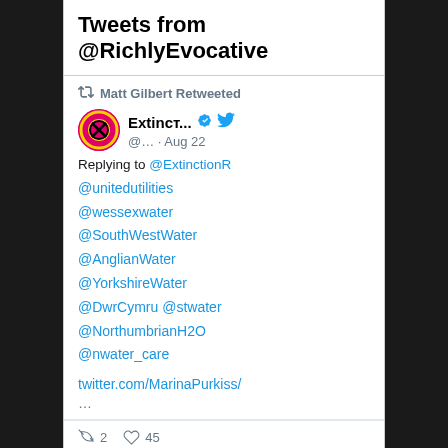Tweets from @RichlyEvocative
Matt Gilbert Retweeted
Extincт... @... · Aug 22
Replying to @ExtinctionR
@unitedutilities
@wessexwater
@SouthWestWater
@AnglianWater
@YorkshireWater
@DwrCymru @stwater
@NorthumbrianH2O
@nwater_care
twitter.com/MarinaPurkiss/
…
2    45